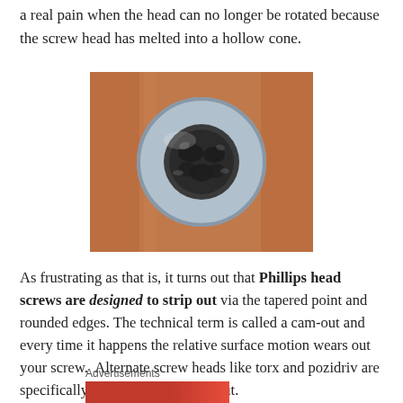a real pain when the head can no longer be rotated because the screw head has melted into a hollow cone.
[Figure (photo): Close-up photo of a stripped Phillips head screw embedded in reddish-brown wood, showing the screw head with its drive recess worn away into a hollow cone shape.]
As frustrating as that is, it turns out that Phillips head screws are designed to strip out via the tapered point and rounded edges. The technical term is called a cam-out and every time it happens the relative surface motion wears out your screw. Alternate screw heads like torx and pozidriv are specifically designed not to cam-out.
Advertisements